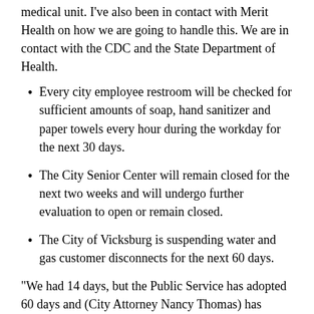medical unit. I've also been in contact with Merit Health on how we are going to handle this. We are in contact with the CDC and the State Department of Health.
Every city employee restroom will be checked for sufficient amounts of soap, hand sanitizer and paper towels every hour during the workday for the next 30 days.
The City Senior Center will remain closed for the next two weeks and will undergo further evaluation to open or remain closed.
The City of Vicksburg is suspending water and gas customer disconnects for the next 60 days.
“We had 14 days, but the Public Service has adopted 60 days and (City Attorney Nancy Thomas) has verified,” Flaggs said. “That means no cut off of gas or water supply for the next 60 days. That doesn’t mean you don’t have